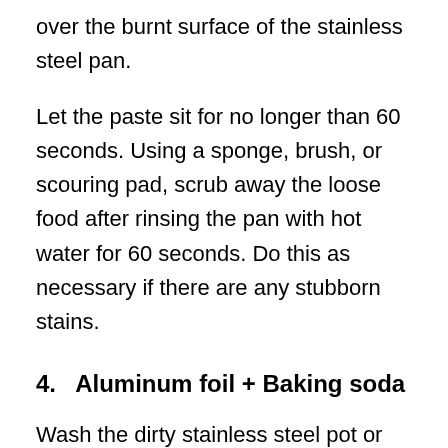over the burnt surface of the stainless steel pan.
Let the paste sit for no longer than 60 seconds. Using a sponge, brush, or scouring pad, scrub away the loose food after rinsing the pan with hot water for 60 seconds. Do this as necessary if there are any stubborn stains.
4.  Aluminum foil + Baking soda
Wash the dirty stainless steel pot or pan using hot water and then drain the water.